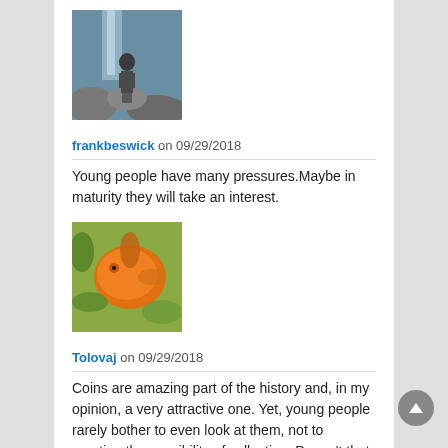[Figure (photo): Profile photo of frankbeswick: person standing near a waterfall and rocks outdoors]
frankbeswick on 09/29/2018
Young people have many pressures.Maybe in maturity they will take an interest.
[Figure (photo): Profile photo of Tolovaj: orange discus fish illustration on green background]
Tolovaj on 09/29/2018
Coins are amazing part of the history and, in my opinion, a very attractive one. Yet, young people rarely bother to even look at them, not to mention the possibility of collecting. Doesn't that attitude say a lot about today's society?
[Figure (photo): Profile photo: person near waterfall, partial view at bottom of page]